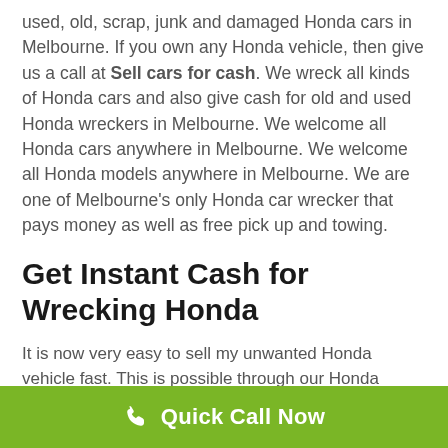used, old, scrap, junk and damaged Honda cars in Melbourne. If you own any Honda vehicle, then give us a call at Sell cars for cash. We wreck all kinds of Honda cars and also give cash for old and used Honda wreckers in Melbourne. We welcome all Honda cars anywhere in Melbourne. We welcome all Honda models anywhere in Melbourne. We are one of Melbourne's only Honda car wrecker that pays money as well as free pick up and towing.
Get Instant Cash for Wrecking Honda
It is now very easy to sell my unwanted Honda vehicle fast. This is possible through our Honda wreckers Melbourne. At Honda wreckers Melbourne we will buy
Quick Call Now